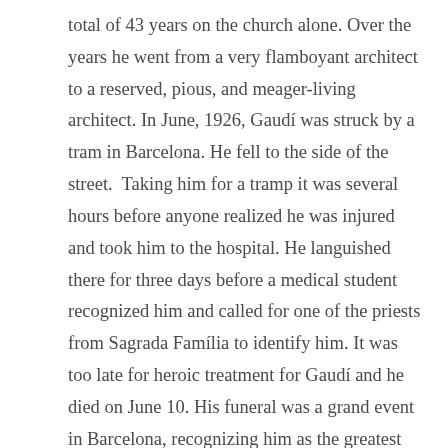total of 43 years on the church alone. Over the years he went from a very flamboyant architect to a reserved, pious, and meager-living architect. In June, 1926, Gaudí was struck by a tram in Barcelona. He fell to the side of the street.  Taking him for a tramp it was several hours before anyone realized he was injured and took him to the hospital. He languished there for three days before a medical student recognized him and called for one of the priests from Sagrada Família to identify him. It was too late for heroic treatment for Gaudí and he died on June 10. His funeral was a grand event in Barcelona, recognizing him as the greatest architect Barcelona had ever known. He is buried in the Chapel of Our Lady of Mount Carmel in the crypt of Sagrada Família.